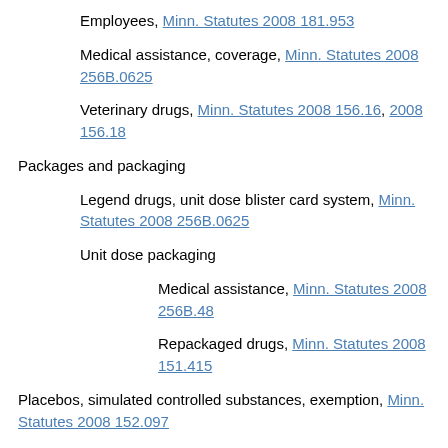Employees, Minn. Statutes 2008 181.953
Medical assistance, coverage, Minn. Statutes 2008 256B.0625
Veterinary drugs, Minn. Statutes 2008 156.16, 2008 156.18
Packages and packaging
Legend drugs, unit dose blister card system, Minn. Statutes 2008 256B.0625
Unit dose packaging
Medical assistance, Minn. Statutes 2008 256B.48
Repackaged drugs, Minn. Statutes 2008 151.415
Placebos, simulated controlled substances, exemption, Minn. Statutes 2008 152.097
Precursor substances, Minn. Statutes 2008 152.0262, 2008